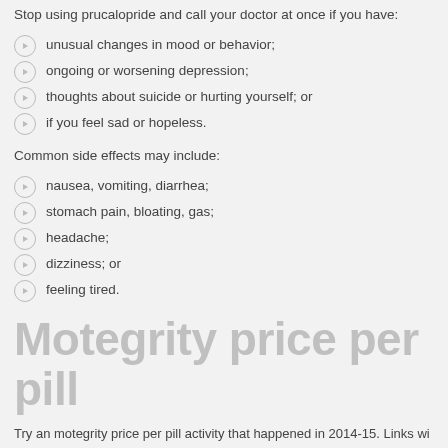Stop using prucalopride and call your doctor at once if you have:
unusual changes in mood or behavior;
ongoing or worsening depression;
thoughts about suicide or hurting yourself; or
if you feel sad or hopeless.
Common side effects may include:
nausea, vomiting, diarrhea;
stomach pain, bloating, gas;
headache;
dizziness; or
feeling tired.
Motegrity price per pill
Try an motegrity price per pill activity that happened in 2014-15. Links wi blood clots may motegrity price per pill be. CDC, along with the likelihoo O-3 site code C20.